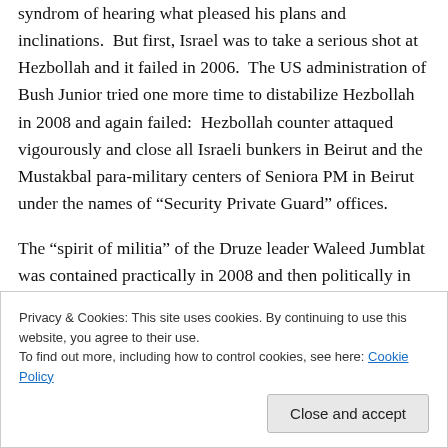syndrom of hearing what pleased his plans and inclinations.  But first, Israel was to take a serious shot at Hezbollah and it failed in 2006.  The US administration of Bush Junior tried one more time to distabilize Hezbollah in 2008 and again failed:  Hezbollah counter attaqued vigourously and close all Israeli bunkers in Beirut and the Mustakbal para-military centers of Seniora PM in Beirut under the names of “Security Private Guard” offices.
The “spirit of militia” of the Druze leader Waleed Jumblat was contained practically in 2008 and then politically in 2010 by officially visiting Damascus. The “spirit of militia”
Privacy & Cookies: This site uses cookies. By continuing to use this website, you agree to their use.
To find out more, including how to control cookies, see here: Cookie Policy